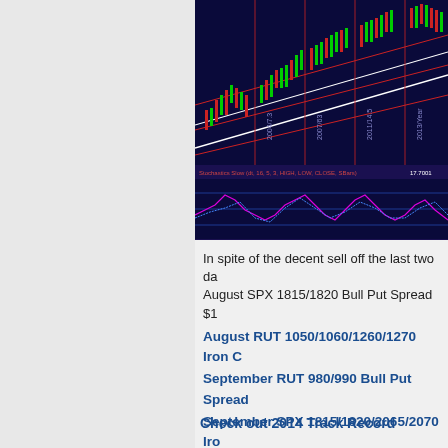[Figure (screenshot): Stock market technical analysis chart showing candlestick price chart (top panel with trend channels), Stochastic Slow oscillator (middle panel, magenta/blue lines), and McClellan Oscillator for NYSE (bottom panel, cyan line). X-axis shows dates: Oct, Nov, Dec, 14. Labels include 'Stochastics Slow (dt, 16, 5, 5, HIGH, LOW, CLOSE, SBars)' and 'McClellan Oscillator (NYSE, 13, 39, 150, -150, No) -279.25'.]
In spite of the decent sell off the last two da August SPX 1815/1820 Bull Put Spread $1
August RUT 1050/1060/1260/1270 Iron C
September RUT 980/990 Bull Put Spread
September SPX 1815/1820/2065/2070 Iro
Check out 2014 Track Record